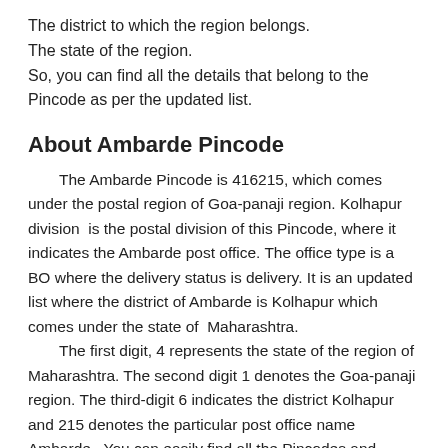The district to which the region belongs.
The state of the region.
So, you can find all the details that belong to the Pincode as per the updated list.
About Ambarde Pincode
The Ambarde Pincode is 416215, which comes under the postal region of Goa-panaji region. Kolhapur division  is the postal division of this Pincode, where it indicates the Ambarde post office. The office type is a BO where the delivery status is delivery. It is an updated list where the district of Ambarde is Kolhapur which comes under the state of  Maharashtra.
The first digit, 4 represents the state of the region of Maharashtra. The second digit 1 denotes the Goa-panaji region. The third-digit 6 indicates the district Kolhapur and 215 denotes the particular post office name Ambarde . You can easily find all the Pincodes and details about Pincode just by entering the area name or Pincode.